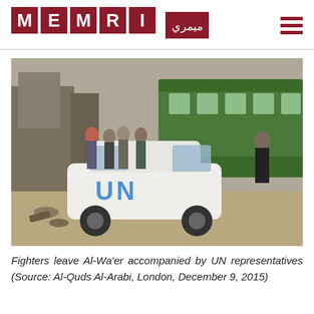MEMRI
[Figure (photo): A white UN-marked SUV (Toyota Land Cruiser) in the foreground with the letters 'UN' in blue on the door. In the background, a green bus and a crowd of people, some wearing camouflage or dark clothing. The scene appears to be an evacuation in a conflict zone.]
Fighters leave Al-Wa'er accompanied by UN representatives (Source: Al-Quds Al-Arabi, London, December 9, 2015)